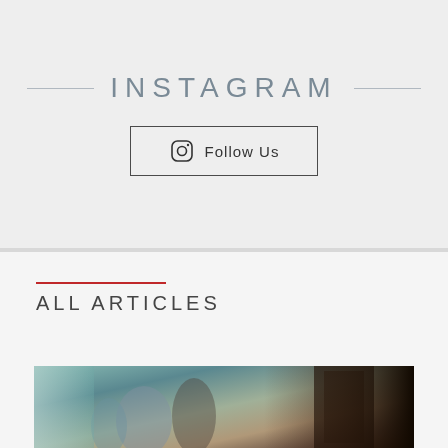INSTAGRAM
Follow Us
ALL ARTICLES
[Figure (photo): Blurred photo of people inside a cafe or restaurant with teal/green walls and a dark doorway on the right]